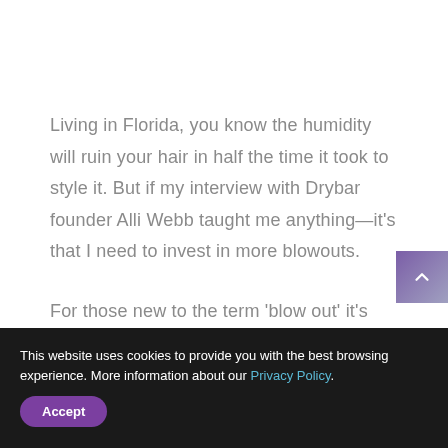Living in Florida, you know the humidity will ruin your hair in half the time it took to style it. But if my interview with Drybar founder Alli Webb taught me anything—it's that I need to invest in more blowouts.
For those new to the term 'blow out' it's essentially a method of blow drying the hair so your style stays intact much longer than letting
This website uses cookies to provide you with the best browsing experience. More information about our Privacy Policy.
Accept